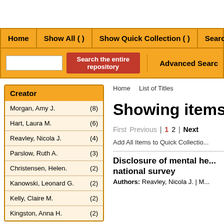[Figure (screenshot): Navigation bar with Home, Show All(), Show Quick Collection(), Search Histo... buttons on orange background, plus search input and Search the entire repository red button, and Advanced Search link]
Home   List of Titles
Showing items
First  Previous | 1  2 | Next
Add All Items to Quick Collectio...
Creator
Morgan, Amy J.    (8)
Hart, Laura M.    (6)
Reavley, Nicola J.    (4)
Parslow, Ruth A.    (3)
Christensen, Helen.    (2)
Kanowski, Leonard G.    (2)
Kelly, Claire M.    (2)
Kingston, Anna H.    (2)
Disclosure of mental he... national survey
Authors: Reavley, Nicola J. | M...